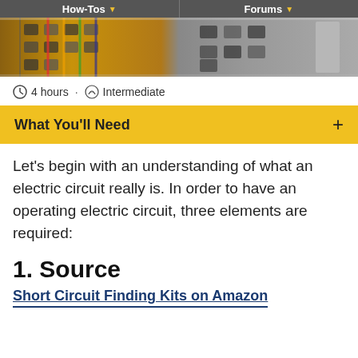How-Tos   Forums
[Figure (photo): Photo of electrical circuit breaker panel with colorful wires and components]
4 hours · Intermediate
What You'll Need
Let's begin with an understanding of what an electric circuit really is. In order to have an operating electric circuit, three elements are required:
1. Source
Short Circuit Finding Kits on Amazon